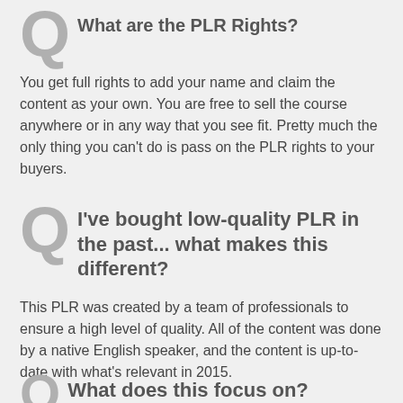What are the PLR Rights?
You get full rights to add your name and claim the content as your own. You are free to sell the course anywhere or in any way that you see fit. Pretty much the only thing you can't do is pass on the PLR rights to your buyers.
I've bought low-quality PLR in the past... what makes this different?
This PLR was created by a team of professionals to ensure a high level of quality. All of the content was done by a native English speaker, and the content is up-to-date with what's relevant in 2015.
What does this focus on?